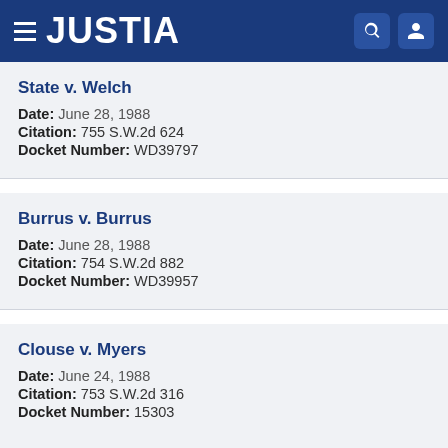JUSTIA
State v. Welch
Date: June 28, 1988
Citation: 755 S.W.2d 624
Docket Number: WD39797
Burrus v. Burrus
Date: June 28, 1988
Citation: 754 S.W.2d 882
Docket Number: WD39957
Clouse v. Myers
Date: June 24, 1988
Citation: 753 S.W.2d 316
Docket Number: 15303